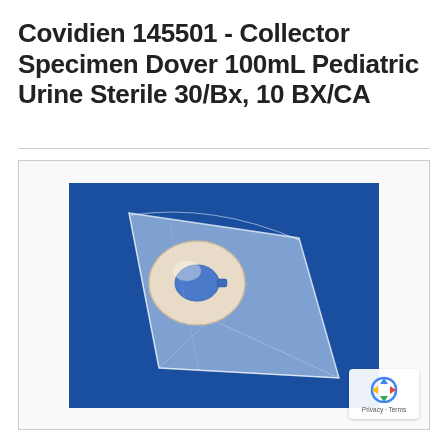Covidien 145501 - Collector Specimen Dover 100mL Pediatric Urine Sterile 30/Bx, 10 BX/CA
[Figure (photo): Covidien pediatric urine specimen collector bag in clear sterile packaging against a blue background. The bag contains a cream/white donut-shaped collection device inside a long triangular clear plastic sterile wrap.]